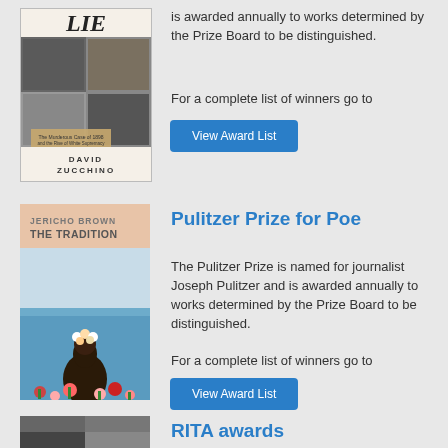[Figure (illustration): Book cover of 'The Lie' by David Zucchino, featuring historical photographs in a grid layout on a light background]
is awarded annually to works determined by the Prize Board to be distinguished.
For a complete list of winners go to
View Award List
[Figure (illustration): Book cover of 'The Tradition' by Jericho Brown, featuring a figure with flowers standing by the sea on a pink/peach background]
Pulitzer Prize for Poe
The Pulitzer Prize is named for journalist Joseph Pulitzer and is awarded annually to works determined by the Prize Board to be distinguished.
For a complete list of winners go to
View Award List
[Figure (illustration): Partial book cover visible at bottom of page]
RITA awards